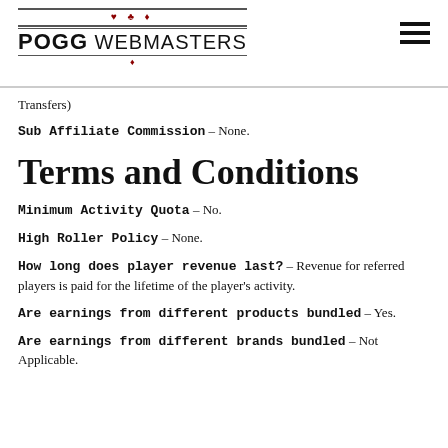POGG WEBMASTERS
Transfers)
Sub Affiliate Commission – None.
Terms and Conditions
Minimum Activity Quota – No.
High Roller Policy – None.
How long does player revenue last? – Revenue for referred players is paid for the lifetime of the player's activity.
Are earnings from different products bundled – Yes.
Are earnings from different brands bundled – Not Applicable.